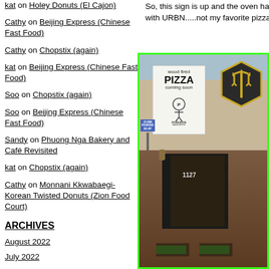kat on Holey Donuts (El Cajon)
Cathy on Beijing Express (Chinese Fast Food)
Cathy on Chopstix (again)
kat on Beijing Express (Chinese Fast Food)
Soo on Chopstix (again)
Soo on Beijing Express (Chinese Fast Food)
Sandy on Phuong Nga Bakery and Café Revisited
kat on Chopstix (again)
Cathy on Monnani Kkwabaegi-Korean Twisted Donuts (Zion Food Court)
ARCHIVES
August 2022
July 2022
June 2022
May 2022
April 2022
So, this sign is up and the oven has been del with URBN.....not my favorite pizza, so we'l
[Figure (photo): Exterior of a restaurant building with a 'wood fired PIZZA coming soon - Poseidon Project' sign posted on the facade. The building has brick and wood siding, a dark entrance, planters with plants, and a hexagonal trident logo badge.]